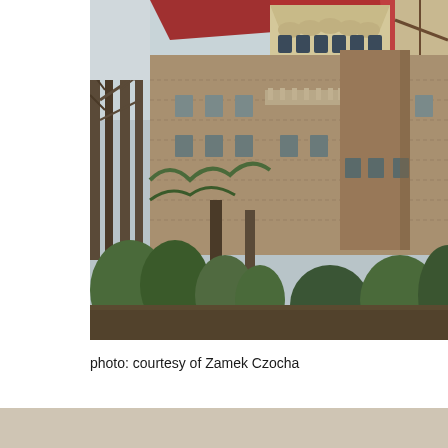[Figure (photo): Photograph of Zamek Czocha castle with red roof, stone facade, ornate stepped gables, surrounded by bare trees and greenery, viewed from outside.]
photo: courtesy of Zamek Czocha
[Figure (other): Beige/tan colored block at bottom of page, partial view of next content section.]